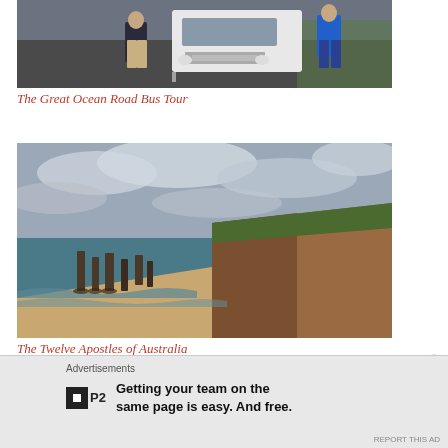[Figure (photo): Two people walking near a white Mitsubishi van/bus on a road, one in dark jacket and khaki shorts, one in blue jacket and jeans.]
The Great Ocean Road Bus Tour
[Figure (photo): Aerial/cliff-top view of the Twelve Apostles rock formations along the Australian coastline, with sandy beach, ocean waves, and dramatic limestone cliffs under a cloudy sky.]
The Twelve Apostles of Australia
Advertisements
Getting your team on the same page is easy. And free.